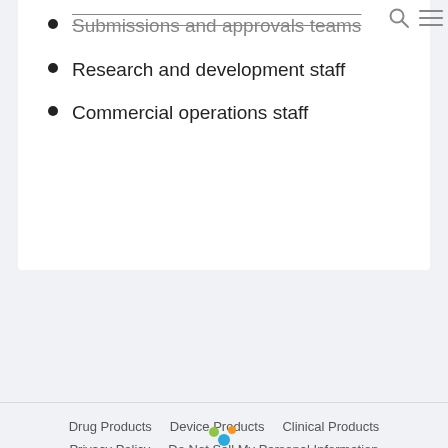Submissions and approvals teams
Research and development staff
Commercial operations staff
Drug Products   Device Products   Clinical Products   Privacy Policy   Do Not Sell My Personal Information